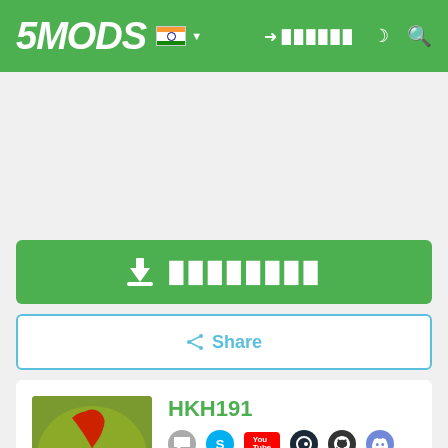5MODS navigation bar with logo, India flag, login, dark mode, search
[Figure (screenshot): Advertisement placeholder area (blank/white)]
[Figure (screenshot): Green download button with download icon and placeholder text]
[Figure (screenshot): Share button with share icon]
[Figure (screenshot): Author card for HKH191 with biohazard avatar, social icons, YouTube 1K subscribe button, X close button, and PayPal donate button]